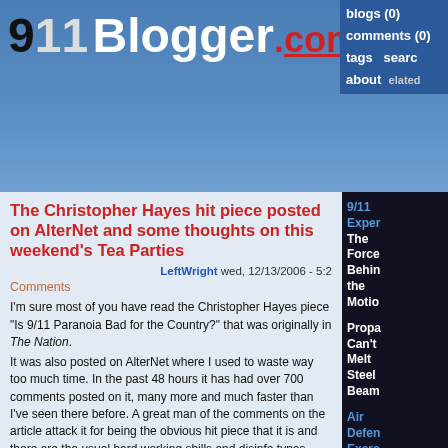911Blogger.com — blogs (0) comments (0) tags search about related
The Christopher Hayes hit piece posted on AlterNet and some thoughts on this weekend's Tea Parties
LeftWright wed, 12/13/2006 - 5:2
Comments
I'm sure most of you have read the Christopher Hayes piece "Is 9/11 Paranoia Bad for the Country?" that was originally in The Nation.
It was also posted on AlterNet where I used to waste way too much time. In the past 48 hours it has had over 700 comments posted on it, many more and much faster than I've seen there before. A great many of the comments on the article attack it for being the obvious hit piece that it is and there are the usual hard working shills and disinfo types trying to counter the facts stated in many of the comments.
What I find especially noteworthy is that the article states that the 9/11 Truth Movement is in fact a genuine political Movement and needs to be
9/11 Exper The Force Behin the Motio
Propa Can't Melt Steel Beam
Air Defen Exerc a Month